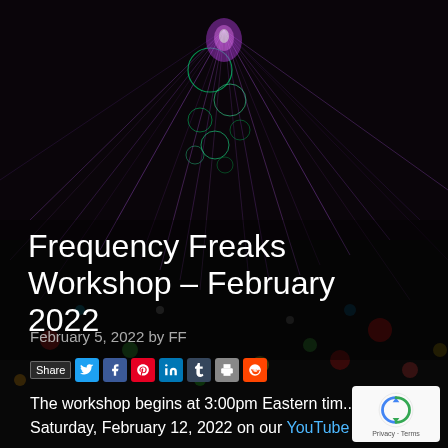[Figure (photo): Dark background with purple laser light beams radiating outward with glowing green circular bubble shapes at the top, and blurred colorful bokeh lights (red, green, yellow) across the lower portion of the image.]
Frequency Freaks Workshop – February 2022
February 5, 2022 by FF
[Figure (infographic): Social share bar with Share button and icons for Twitter, Facebook, Pinterest, LinkedIn, Tumblr, Print, and Reddit]
The workshop begins at 3:00pm Eastern tim... Saturday, February 12, 2022 on our YouTube